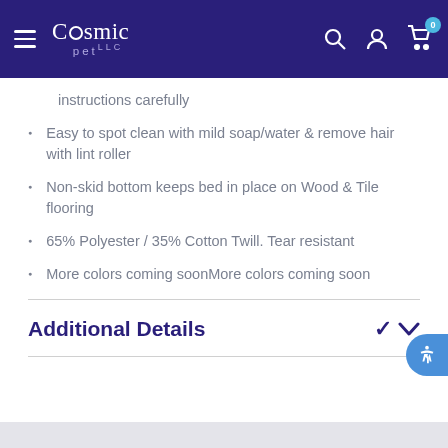Cosmic Pet LLC — navigation header
instructions carefully
Easy to spot clean with mild soap/water & remove hair with lint roller
Non-skid bottom keeps bed in place on Wood & Tile flooring
65% Polyester / 35% Cotton Twill. Tear resistant
More colors coming soonMore colors coming soon
Additional Details